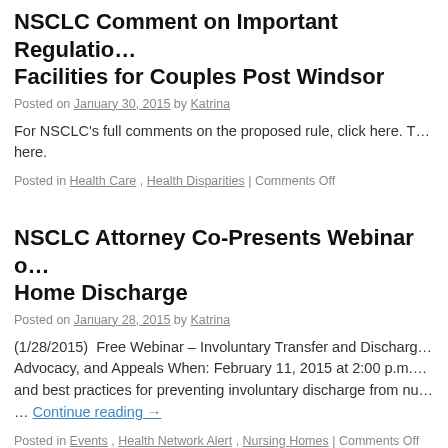NSCLC Comment on Important Regulations for Facilities for Couples Post Windsor
Posted on January 30, 2015 by Katrina
For NSCLC's full comments on the proposed rule, click here. T… here.
Posted in Health Care, Health Disparities | Comments Off
NSCLC Attorney Co-Presents Webinar on Home Discharge
Posted on January 28, 2015 by Katrina
(1/28/2015)  Free Webinar – Involuntary Transfer and Discharge Advocacy, and Appeals When: February 11, 2015 at 2:00 p.m. … and best practices for preventing involuntary discharge from nu… … Continue reading →
Posted in Events, Health Network Alert, Nursing Homes | Comments Off